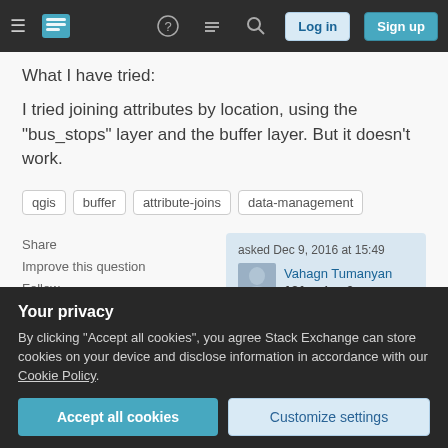Stack Exchange Q&A navigation bar with hamburger menu, logo, help, chat, search icons, Log in and Sign up buttons
What I have tried:
I tried joining attributes by location, using the "bus_stops" layer and the buffer layer. But it doesn't work.
qgis
buffer
attribute-joins
data-management
Share
Improve this question
Follow
asked Dec 9, 2016 at 15:49
Vahagn Tumanyan
131 ● 1 ● 3
Your privacy
By clicking "Accept all cookies", you agree Stack Exchange can store cookies on your device and disclose information in accordance with our Cookie Policy.
Accept all cookies   Customize settings
Sorted by: